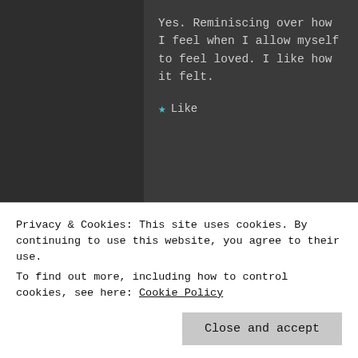Yes. Reminiscing over how I feel when I allow myself to feel loved. I like how it felt.
Like
Dan Antion says:
April 20, 2015 at 6:24 am
I like to learn something every day. Today it was the meaning of “cerulean” Thanks. But my favorite part is: “Equidistant appears too far” – that made my head spin a little bit. You packed a lot into this small poem- good job
Privacy & Cookies: This site uses cookies. By continuing to use this website, you agree to their use.
To find out more, including how to control cookies, see here: Cookie Policy
Close and accept